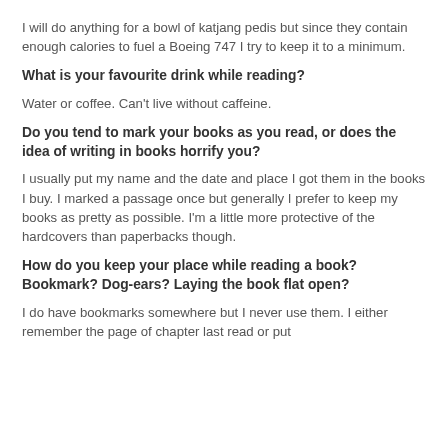I will do anything for a bowl of katjang pedis but since they contain enough calories to fuel a Boeing 747 I try to keep it to a minimum.
What is your favourite drink while reading?
Water or coffee. Can't live without caffeine.
Do you tend to mark your books as you read, or does the idea of writing in books horrify you?
I usually put my name and the date and place I got them in the books I buy. I marked a passage once but generally I prefer to keep my books as pretty as possible. I'm a little more protective of the hardcovers than paperbacks though.
How do you keep your place while reading a book? Bookmark? Dog-ears? Laying the book flat open?
I do have bookmarks somewhere but I never use them. I either remember the page of chapter last read or put